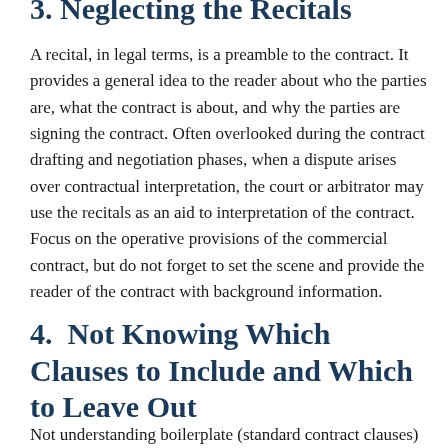3.  Neglecting the Recitals
A recital, in legal terms, is a preamble to the contract. It provides a general idea to the reader about who the parties are, what the contract is about, and why the parties are signing the contract. Often overlooked during the contract drafting and negotiation phases, when a dispute arises over contractual interpretation, the court or arbitrator may use the recitals as an aid to interpretation of the contract. Focus on the operative provisions of the commercial contract, but do not forget to set the scene and provide the reader of the contract with background information.
4.  Not Knowing Which Clauses to Include and Which to Leave Out
Not understanding boilerplate (standard contract clauses)